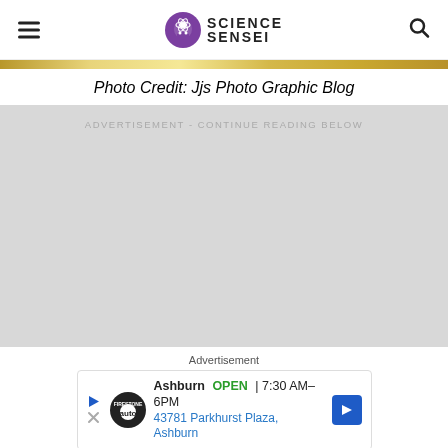Science Sensei
[Figure (other): Gold/metallic horizontal bar image at top of article]
Photo Credit: Jjs Photo Graphic Blog
ADVERTISEMENT - CONTINUE READING BELOW
Advertisement
[Figure (other): Advertisement: Ashburn OPEN 7:30AM-6PM, 43781 Parkhurst Plaza, Ashburn - auto service ad with logo and navigation arrow]